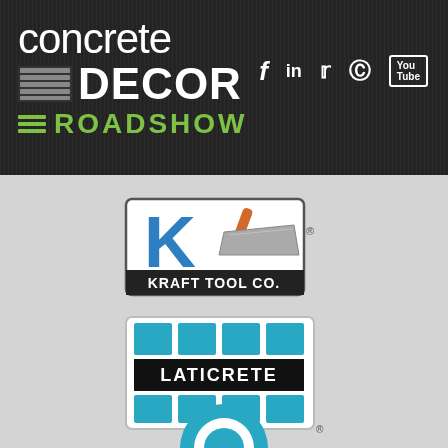[Figure (logo): Concrete Decor Roadshow website header with logo and social media icons (Facebook, LinkedIn, Twitter, Pinterest, YouTube)]
[Figure (logo): Kraft Tool Co. logo featuring a blue K letter with a concrete trowel and the text KRAFT TOOL CO. in a rectangular border]
[Figure (logo): LATICRETE logo featuring a 3x2 grid of teal/blue squares with LATICRETE text on black band and registered trademark symbol]
[Figure (logo): Partial third company logo, teal/blue colored, cut off at bottom of page]